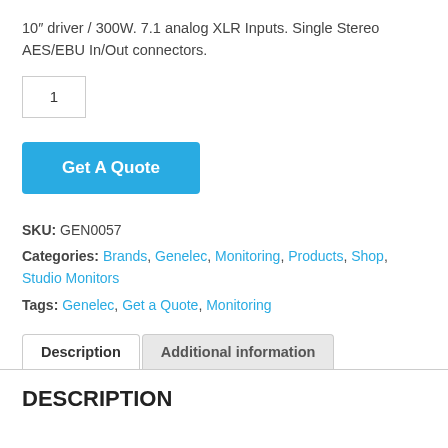10″ driver / 300W. 7.1 analog XLR Inputs. Single Stereo AES/EBU In/Out connectors.
1
Get A Quote
SKU: GEN0057
Categories: Brands, Genelec, Monitoring, Products, Shop, Studio Monitors
Tags: Genelec, Get a Quote, Monitoring
Description | Additional information
DESCRIPTION